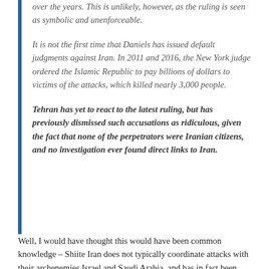over the years. This is unlikely, however, as the ruling is seen as symbolic and unenforceable.
It is not the first time that Daniels has issued default judgments against Iran. In 2011 and 2016, the New York judge ordered the Islamic Republic to pay billions of dollars to victims of the attacks, which killed nearly 3,000 people.
Tehran has yet to react to the latest ruling, but has previously dismissed such accusations as ridiculous, given the fact that none of the perpetrators were Iranian citizens, and no investigation ever found direct links to Iran.
Well, I would have thought this would have been common knowledge – Shiite Iran does not typically coordinate attacks with their archenemies Israel and Saudi Arabia, and has in fact been nothing but helpful for the American occupation force